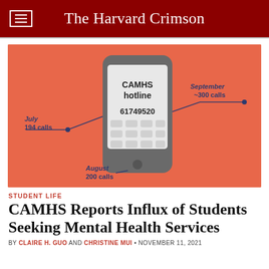The Harvard Crimson
[Figure (infographic): Illustration of a smartphone showing CAMHS hotline number 61749520, with annotations: July 194 calls (left), August 200 calls (bottom left), September ~300 calls (right). Orange background.]
STUDENT LIFE
CAMHS Reports Influx of Students Seeking Mental Health Services
BY CLAIRE H. GUO AND CHRISTINE MUI • NOVEMBER 11, 2021